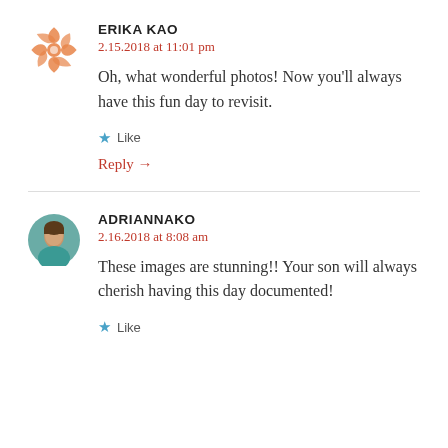[Figure (logo): Decorative orange/coral tile mandala avatar for Erika Kao]
ERIKA KAO
2.15.2018 at 11:01 pm
Oh, what wonderful photos! Now you'll always have this fun day to revisit.
Like
Reply →
[Figure (photo): Round profile photo of Adrianna Ko, woman with teal top]
ADRIANNAKO
2.16.2018 at 8:08 am
These images are stunning!! Your son will always cherish having this day documented!
Like